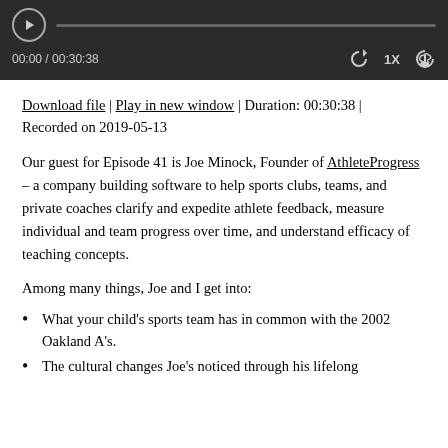[Figure (screenshot): Audio player bar showing play button, progress bar, time 00:00 / 00:30:38, and playback controls (rewind, 1x speed, download)]
Download file | Play in new window | Duration: 00:30:38 | Recorded on 2019-05-13
Our guest for Episode 41 is Joe Minock, Founder of AthleteProgress – a company building software to help sports clubs, teams, and private coaches clarify and expedite athlete feedback, measure individual and team progress over time, and understand efficacy of teaching concepts.
Among many things, Joe and I get into:
What your child's sports team has in common with the 2002 Oakland A's.
The cultural changes Joe's noticed through his lifelong